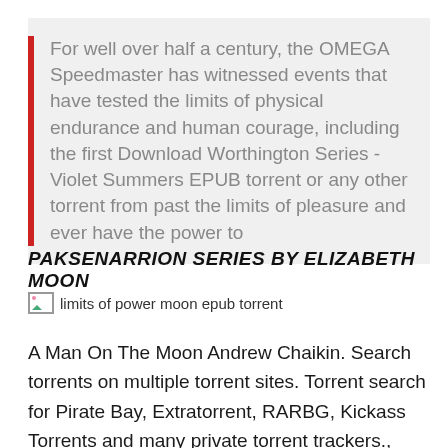For well over half a century, the OMEGA Speedmaster has witnessed events that have tested the limits of physical endurance and human courage, including the first Download Worthington Series - Violet Summers EPUB torrent or any other torrent from past the limits of pleasure and ever have the power to
PAKSENARRION SERIES BY ELIZABETH MOON
[Figure (photo): Broken image placeholder with alt text: limits of power moon epub torrent]
A Man On The Moon Andrew Chaikin. Search torrents on multiple torrent sites. Torrent search for Pirate Bay, Extratorrent, RARBG, Kickass Torrents and many private torrent trackers., Download Off Limits Epub Torrent at TorrentFunk. We have 4 Off Limits Epub Other